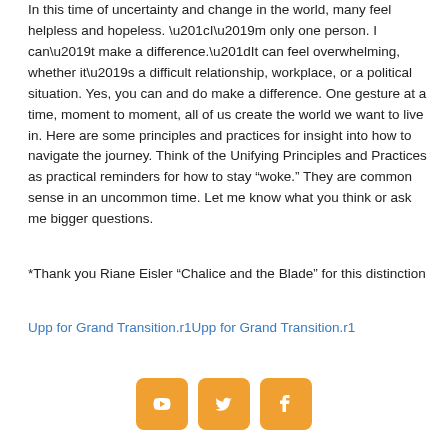In this time of uncertainty and change in the world, many feel helpless and hopeless. “I’m only one person. I can’t make a difference.”It can feel overwhelming, whether it’s a difficult relationship, workplace, or a political situation. Yes, you can and do make a difference. One gesture at a time, moment to moment, all of us create the world we want to live in. Here are some principles and practices for insight into how to navigate the journey. Think of the Unifying Principles and Practices as practical reminders for how to stay “woke.” They are common sense in an uncommon time. Let me know what you think or ask me bigger questions.
*Thank you Riane Eisler “Chalice and the Blade” for this distinction
Upp for Grand Transition.r1Upp for Grand Transition.r1
[Figure (infographic): Three social media icons in orange rounded squares: YouTube, Twitter, Facebook]